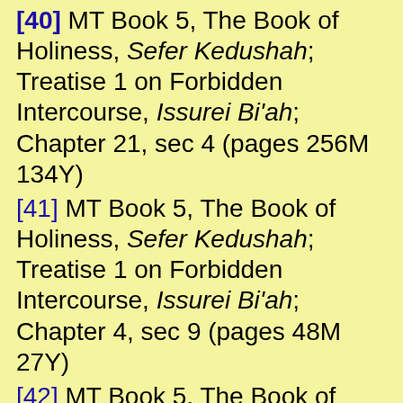[40] MT Book 5, The Book of Holiness, Sefer Kedushah; Treatise 1 on Forbidden Intercourse, Issurei Bi'ah; Chapter 21, sec 4 (pages 256M 134Y)
[41] MT Book 5, The Book of Holiness, Sefer Kedushah; Treatise 1 on Forbidden Intercourse, Issurei Bi'ah; Chapter 4, sec 9 (pages 48M 27Y)
[42] MT Book 5, The Book of Holiness, Sefer Kedushah; Treatise 1 on Forbidden Intercourse, Issurei Bi'ah; Chapter 4, sec 13 (pages 50M...